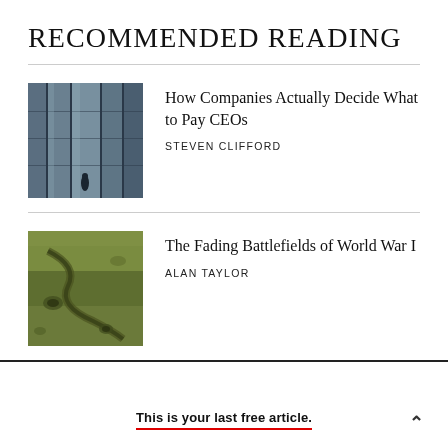RECOMMENDED READING
How Companies Actually Decide What to Pay CEOs
STEVEN CLIFFORD
The Fading Battlefields of World War I
ALAN TAYLOR
This is your last free article.